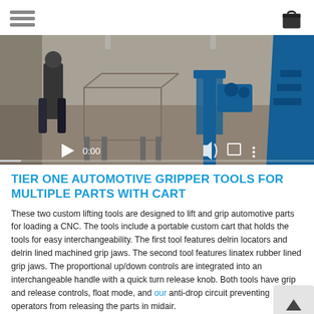Navigation menu and shopping bag icon
[Figure (screenshot): Video thumbnail showing an industrial workshop with blue metal equipment, gripper tools on stands, and a worker in the background. Video player overlay shows play button, 0:00 timestamp, volume, fullscreen and more options controls with a progress bar.]
TIER ONE AUTOMOTIVE GRIPPER TOOLS FOR MULTIPLE PARTS WITH CART
These two custom lifting tools are designed to lift and grip automotive parts for loading a CNC. The tools include a portable custom cart that holds the tools for easy interchangeability. The first tool features delrin locators and delrin lined machined grip jaws. The second tool features linatex rubber lined grip jaws. The proportional up/down controls are integrated into an interchangeable handle with a quick turn release knob. Both tools have grip and release controls, float mode, and our anti-drop circuit preventing operators from releasing the parts in midair.